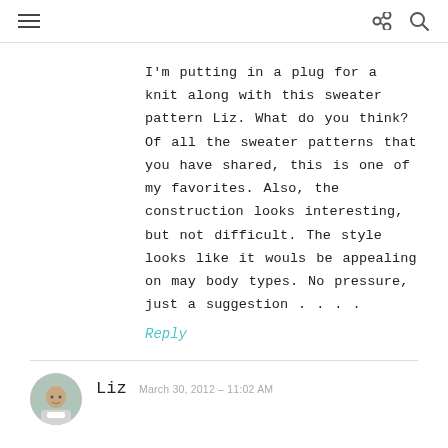≡  ⬡ 🔍
I'm putting in a plug for a knit along with this sweater pattern Liz. What do you think? Of all the sweater patterns that you have shared, this is one of my favorites. Also, the construction looks interesting, but not difficult. The style looks like it wouls be appealing on may body types. No pressure, just a suggestion . . . .
Reply
Liz  March 30, 2012 – 11:02 AM